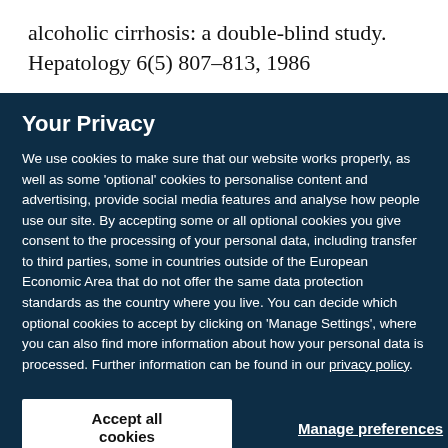alcoholic cirrhosis: a double-blind study. Hepatology 6(5) 807–813, 1986
Your Privacy
We use cookies to make sure that our website works properly, as well as some 'optional' cookies to personalise content and advertising, provide social media features and analyse how people use our site. By accepting some or all optional cookies you give consent to the processing of your personal data, including transfer to third parties, some in countries outside of the European Economic Area that do not offer the same data protection standards as the country where you live. You can decide which optional cookies to accept by clicking on 'Manage Settings', where you can also find more information about how your personal data is processed. Further information can be found in our privacy policy.
Accept all cookies
Manage preferences